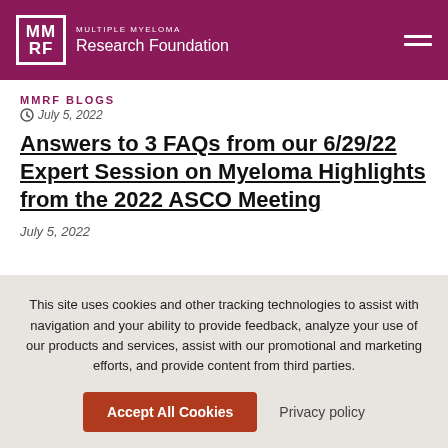MULTIPLE MYELOMA Research Foundation
MMRF BLOGS
July 5, 2022
Answers to 3 FAQs from our 6/29/22 Expert Session on Myeloma Highlights from the 2022 ASCO Meeting
July 5, 2022
This site uses cookies and other tracking technologies to assist with navigation and your ability to provide feedback, analyze your use of our products and services, assist with our promotional and marketing efforts, and provide content from third parties.
Accept All Cookies
Privacy policy